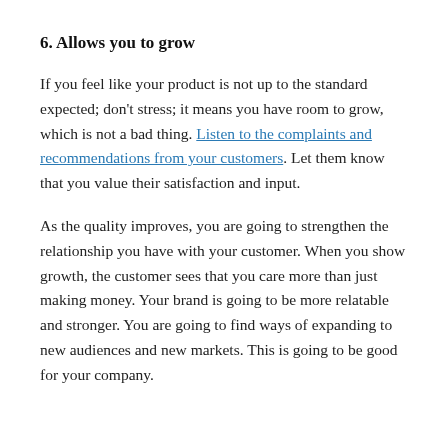6. Allows you to grow
If you feel like your product is not up to the standard expected; don't stress; it means you have room to grow, which is not a bad thing. Listen to the complaints and recommendations from your customers. Let them know that you value their satisfaction and input.
As the quality improves, you are going to strengthen the relationship you have with your customer. When you show growth, the customer sees that you care more than just making money. Your brand is going to be more relatable and stronger. You are going to find ways of expanding to new audiences and new markets. This is going to be good for your company.